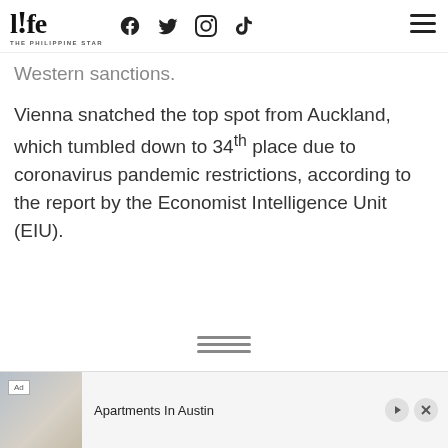life THE PHILIPPINE STAR
Western sanctions.
Vienna snatched the top spot from Auckland, which tumbled down to 34th place due to coronavirus pandemic restrictions, according to the report by the Economist Intelligence Unit (EIU).
[Figure (other): Horizontal menu icon (three lines)]
[Figure (other): Advertisement banner: Apartments In Austin with kitchen photo]